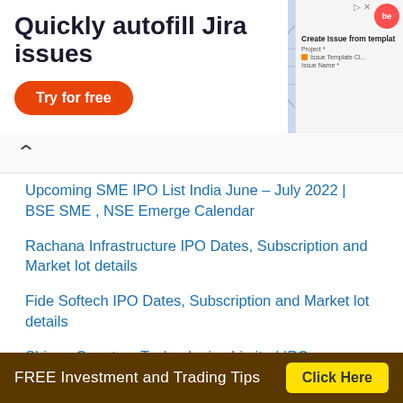[Figure (infographic): Advertisement banner: 'Quickly autofill Jira issues' with orange 'Try for free' button and globe imagery on the right side, with a small Behance-style UI panel on the far right]
Upcoming SME IPO List India June – July 2022 | BSE SME , NSE Emerge Calendar
Rachana Infrastructure IPO Dates, Subscription and Market lot details
Fide Softech IPO Dates, Subscription and Market lot details
Shigan Quantum Technologies Limited IPO
Ekennis Software Service Limited IPO Dates, Fundamentals, Lot size, Reviews and Financials
[Figure (infographic): Footer advertisement: brown background with white text 'FREE Investment and Trading Tips' and yellow 'Click Here' button]